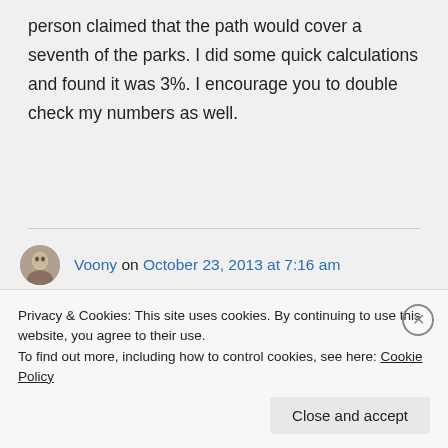person claimed that the path would cover a seventh of the parks. I did some quick calculations and found it was 3%. I encourage you to double check my numbers as well.
Voony on October 23, 2013 at 7:16 am
May be you are not driving, but, a
Privacy & Cookies: This site uses cookies. By continuing to use this website, you agree to their use.
To find out more, including how to control cookies, see here: Cookie Policy